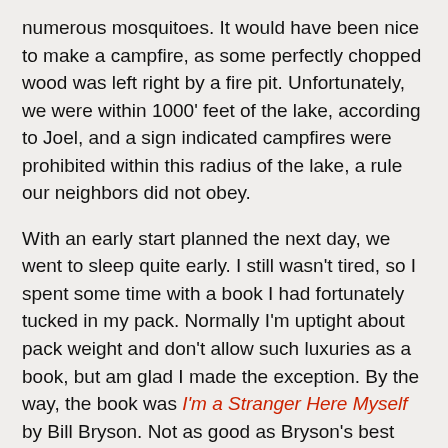numerous mosquitoes. It would have been nice to make a campfire, as some perfectly chopped wood was left right by a fire pit. Unfortunately, we were within 1000' feet of the lake, according to Joel, and a sign indicated campfires were prohibited within this radius of the lake, a rule our neighbors did not obey.
With an early start planned the next day, we went to sleep quite early. I still wasn't tired, so I spent some time with a book I had fortunately tucked in my pack. Normally I'm uptight about pack weight and don't allow such luxuries as a book, but am glad I made the exception. By the way, the book was I'm a Stranger Here Myself by Bill Bryson. Not as good as Bryson's best work, in my opinion, A Walk in the Woods, but still very funny and interesting.
Saturday we got started early in an attempt to beat the usual afternoon storms Joel warned us about. We started out continuing southbound until the end of the drainage. During this time, I had a backpack malfunction. My left strap came